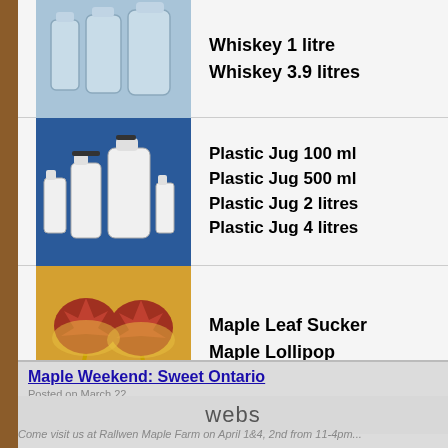[Figure (photo): Glass whiskey jugs/bottles of various sizes on a blue background]
Whiskey 1 litre
Whiskey 3.9 litres
[Figure (photo): White plastic maple syrup jugs of various sizes on a blue background]
Plastic Jug 100 ml
Plastic Jug 500 ml
Plastic Jug 2 litres
Plastic Jug 4 litres
[Figure (photo): Maple leaf shaped suckers/lollipops in yellow holders]
Maple Leaf Sucker
Maple Lollipop
Maple Weekend: Sweet Ontario
Posted on March 22 ...
webs
Come visit us at Rallwen Maple Farm on April 1&4, 2nd from 11-4pm...